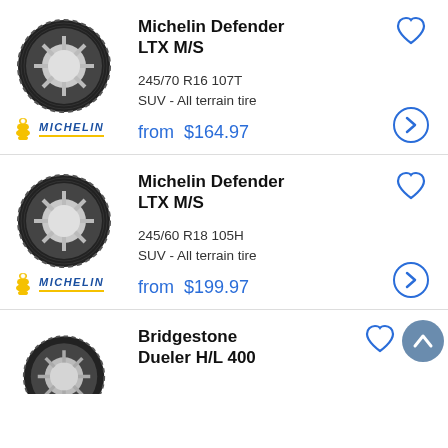[Figure (illustration): Michelin Defender LTX M/S tire product listing 1: tire thumbnail image, Michelin brand logo, product name, specs 245/70 R16 107T SUV - All terrain tire, price from $164.97, heart wishlist icon, arrow navigation button]
[Figure (illustration): Michelin Defender LTX M/S tire product listing 2: tire thumbnail image, Michelin brand logo, product name, specs 245/60 R18 105H SUV - All terrain tire, price from $199.97, heart wishlist icon, arrow navigation button]
[Figure (illustration): Bridgestone Dueler H/L 400 tire product listing 3: tire thumbnail image (partial), product name, heart wishlist icon, scroll-to-top circular button]